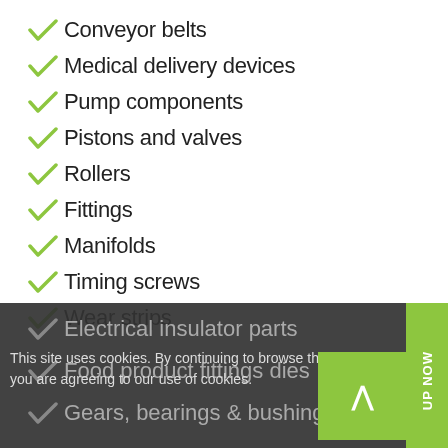Conveyor belts
Medical delivery devices
Pump components
Pistons and valves
Rollers
Fittings
Manifolds
Timing screws
Wear strips
Electrical insulator parts
Food product fittings dies
Gears, bearings & bushings
This site uses cookies. By continuing to browse the site, you are agreeing to our use of cookies.